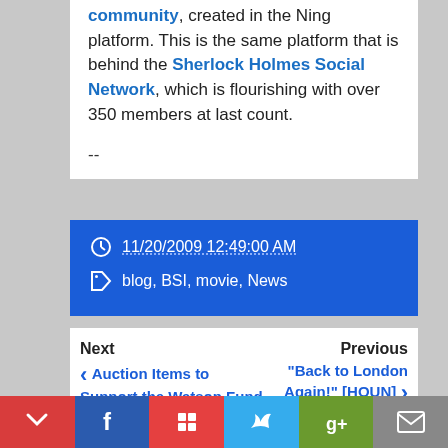community, created in the Ning platform. This is the same platform that is behind the Sherlock Holmes Social Network, which is flourishing with over 350 members at last count.
--
11/20/2009 12:49:00 AM
blog, BSI, movie, News
Next Auction Items to Support the Watson Fund
Previous "Back to London Again!" [HOUN]
Related Posts